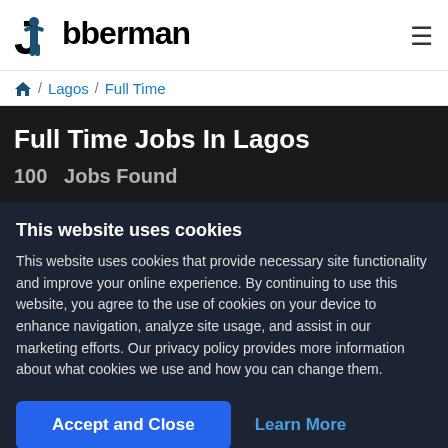Jobberman
🏠 / Lagos / Full Time
Full Time Jobs In Lagos
100   Jobs Found
This website uses cookies
This website uses cookies that provide necessary site functionality and improve your online experience. By continuing to use this website, you agree to the use of cookies on your device to enhance navigation, analyze site usage, and assist in our marketing efforts. Our privacy policy provides more information about what cookies we use and how you can change them.
Accept and Close
Learn More
Featured Jobs